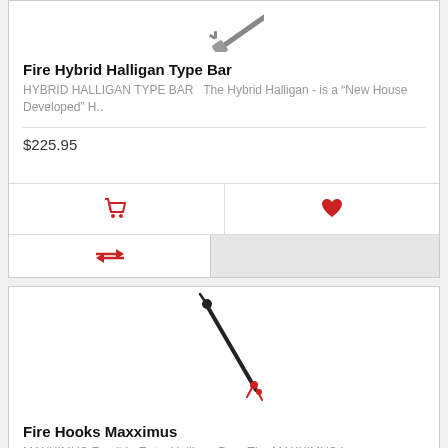[Figure (photo): Partial image of a Hybrid Halligan Type Bar tool at top of page]
Fire Hybrid Halligan Type Bar
HYBRID HALLIGAN TYPE BAR   The Hybrid Halligan - is a "New House Developed" H..
$225.95
[Figure (illustration): Red shopping cart icon]
[Figure (illustration): Red heart/wishlist icon]
[Figure (illustration): Red compare/transfer arrows icon]
[Figure (photo): Image of Fire Hooks Maxximus Halligan Bar tool, diagonal black bar with red ends]
Fire Hooks Maxximus
MAXXIMUS Forcible Entry Halligan Bar   The MAXXIMUS is